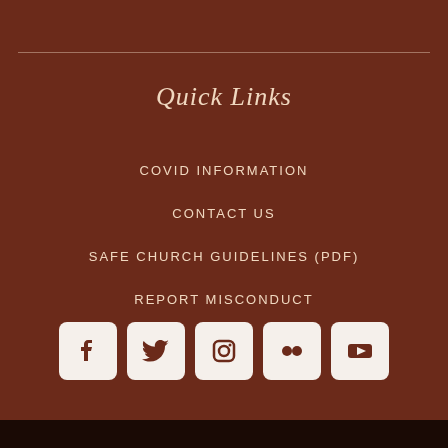Quick Links
COVID INFORMATION
CONTACT US
SAFE CHURCH GUIDELINES (PDF)
REPORT MISCONDUCT
[Figure (infographic): Row of 5 social media icons: Facebook, Twitter, Instagram, Flickr, YouTube — white square icons on light background with rounded corners]